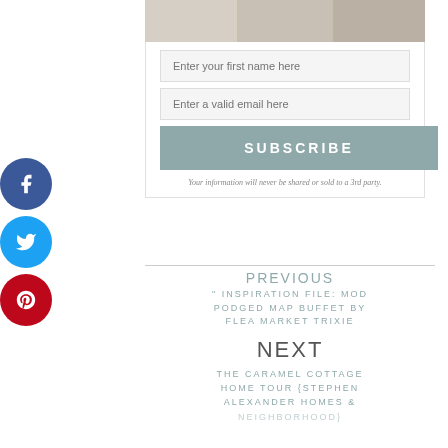[Figure (photo): Partial photo strip showing a bright interior room with white dishes/furniture]
Enter your first name here
Enter a valid email here
SUBSCRIBE
Your information will never be shared or sold to a 3rd party.
PREVIOUS
" INSPIRATION FILE: MOD PODGED MAP BUFFET BY FLEA MARKET TRIXIE
NEXT
THE CARAMEL COTTAGE HOME TOUR {STEPHEN ALEXANDER HOMES & NEIGHBORHOOD}